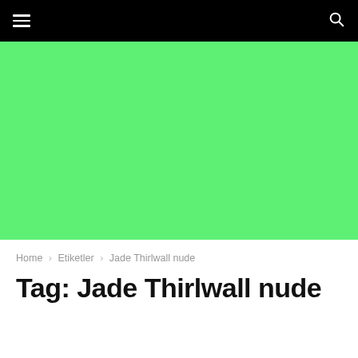Navigation bar with hamburger menu and search icon
[Figure (other): Solid bright green (#5ef075) banner/advertisement placeholder area]
Home › Etiketler › Jade Thirlwall nude
Tag: Jade Thirlwall nude